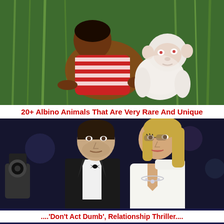[Figure (photo): A person in a red and white striped shirt bending down next to a white albino monkey/ape, surrounded by green grass and vegetation.]
20+ Albino Animals That Are Very Rare And Unique
[Figure (photo): A man in a black tuxedo with bow tie and a woman in a white dress with a deep neckline and diamond necklace, standing together at what appears to be a red carpet event.]
....'Don't Act Dumb', Relationship Thriller...